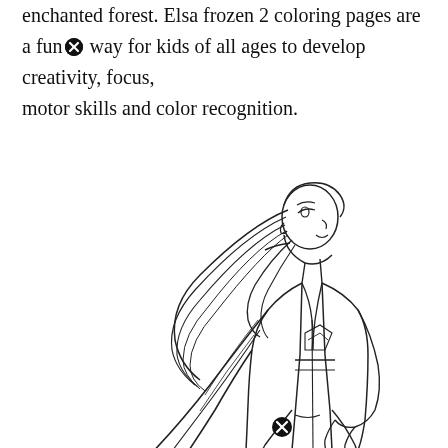enchanted forest. Elsa frozen 2 coloring pages are a fun way for kids of all ages to develop creativity, focus, motor skills and color recognition.
[Figure (illustration): A coloring page line drawing of a girl (Anna/Elsa from Frozen 2) with long flowing hair, wearing a long coat/cape, shown in profile view facing right. The figure is partially cut off at the bottom of the page. Two circular close/remove icons (black circles with white X) are visible overlaid on the image.]